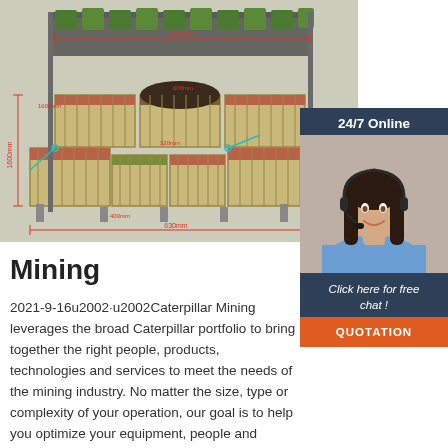[Figure (engineering-diagram): 3D schematic/engineering diagram of a modular display unit or planter system with wooden slat sides, multiple compartments with colored contents (red, green), metal frame supports, and red dimension annotations showing measurements like 1600mm width, 600mm height, etc.]
[Figure (photo): Customer service widget overlay: dark navy blue box with '24/7 Online' header, photo of a smiling woman with dark hair wearing a headset and blue shirt, text 'Click here for free chat!' and an orange 'QUOTATION' button below.]
Mining
2021-9-16u2002·u2002Caterpillar Mining leverages the broad Caterpillar portfolio to bring together the right people, products, technologies and services to meet the needs of the mining industry. No matter the size, type or complexity of your operation, our goal is to help you optimize your equipment, people and overall operation. Whether you are looking for surface mining or